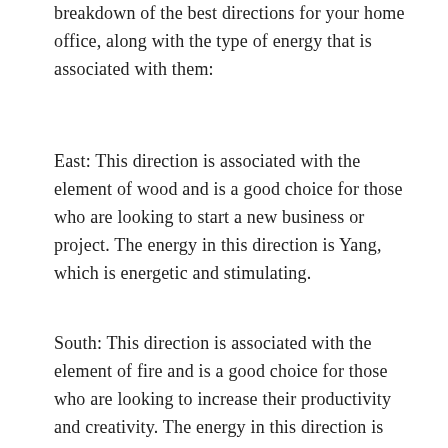breakdown of the best directions for your home office, along with the type of energy that is associated with them:
East: This direction is associated with the element of wood and is a good choice for those who are looking to start a new business or project. The energy in this direction is Yang, which is energetic and stimulating.
South: This direction is associated with the element of fire and is a good choice for those who are looking to increase their productivity and creativity. The energy in this direction is Yang, which is energetic and stimulating.